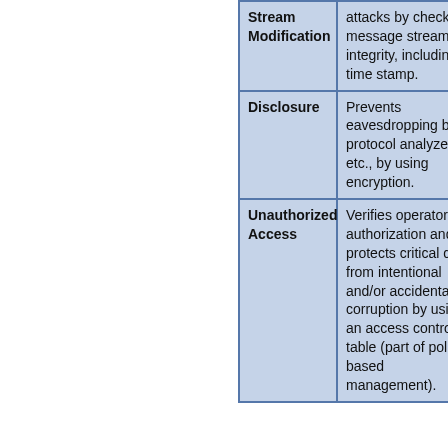| Threat/Attack Type | Description |
| --- | --- |
| Stream Modification | attacks by checking message stream integrity, including a time stamp. |
| Disclosure | Prevents eavesdropping by protocol analyzers, etc., by using encryption. |
| Unauthorized Access | Verifies operator authorization and protects critical data from intentional and/or accidental corruption by using an access control table (part of policy-based management). |